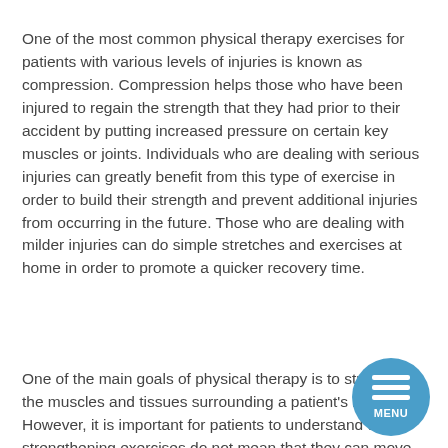One of the most common physical therapy exercises for patients with various levels of injuries is known as compression. Compression helps those who have been injured to regain the strength that they had prior to their accident by putting increased pressure on certain key muscles or joints. Individuals who are dealing with serious injuries can greatly benefit from this type of exercise in order to build their strength and prevent additional injuries from occurring in the future. Those who are dealing with milder injuries can do simple stretches and exercises at home in order to promote a quicker recovery time.
One of the main goals of physical therapy is to strengthen the muscles and tissues surrounding a patient's injury. However, it is important for patients to understand that strengthening exercises do not mean that they can move better. Instead, these exercises are